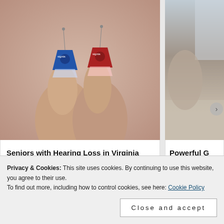[Figure (photo): Two hands holding small Signia hearing aids — one blue, one red — with white ear domes attached, against a neutral background.]
Seniors with Hearing Loss in Virginia Regret Not Knowing This Sooner
[Figure (photo): Partially visible photo on the right side — appears to show a person or interior scene, cropped.]
Powerful G Crushing t
Privacy & Cookies: This site uses cookies. By continuing to use this website, you agree to their use.
To find out more, including how to control cookies, see here: Cookie Policy
Close and accept